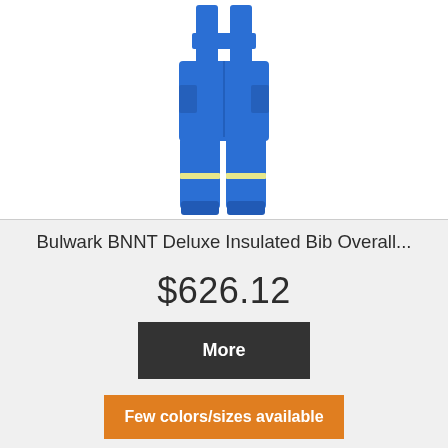[Figure (photo): Blue Bulwark BNNT Deluxe Insulated Bib Overall with reflective tape stripe near the bottom of the legs, shown from torso down.]
Bulwark BNNT Deluxe Insulated Bib Overall...
$626.12
More
Few colors/sizes available